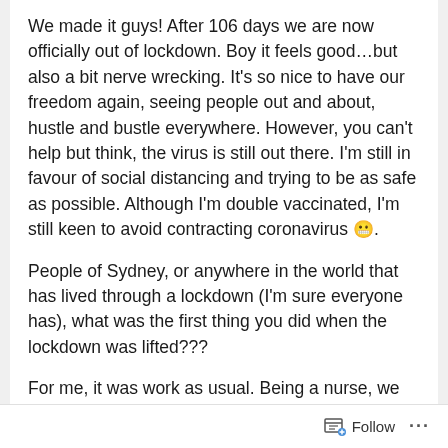We made it guys! After 106 days we are now officially out of lockdown. Boy it feels good…but also a bit nerve wrecking. It's so nice to have our freedom again, seeing people out and about, hustle and bustle everywhere. However, you can't help but think, the virus is still out there. I'm still in favour of social distancing and trying to be as safe as possible. Although I'm double vaccinated, I'm still keen to avoid contracting coronavirus 😬.
People of Sydney, or anywhere in the world that has lived through a lockdown (I'm sure everyone has), what was the first thing you did when the lockdown was lifted???
For me, it was work as usual. Being a nurse, we didn't have any time off during lockdown. Yes I am
Follow ···